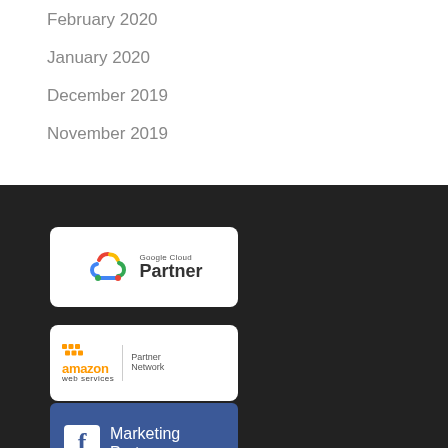February 2020
January 2020
December 2019
November 2019
[Figure (logo): Google Cloud Partner badge — white rounded rectangle with Google Cloud logo (colorful cloud icon) and text 'Google Cloud Partner']
[Figure (logo): Amazon Web Services Partner Network badge — white rounded rectangle with AWS honeycomb logo, 'amazon web services' text, and 'Partner Network' text]
[Figure (logo): Facebook Marketing Partner badge — blue rounded rectangle with white Facebook 'f' icon and text 'Marketing Partner']